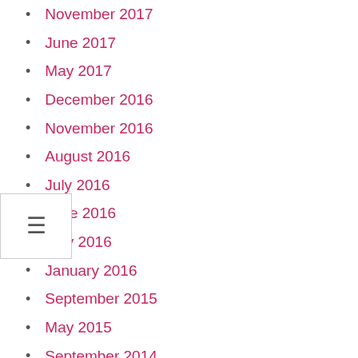November 2017
June 2017
May 2017
December 2016
November 2016
August 2016
July 2016
June 2016
May 2016
January 2016
September 2015
May 2015
September 2014
June 2014
October 2013
August 2013
June 2013
March 2013
October 2012